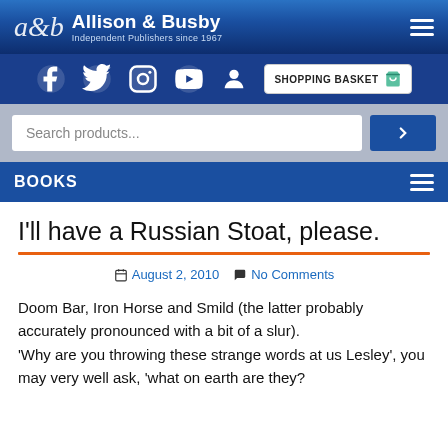Allison & Busby — Independent Publishers since 1967
I'll have a Russian Stoat, please.
August 2, 2010   No Comments
Doom Bar, Iron Horse and Smild (the latter probably accurately pronounced with a bit of a slur).
'Why are you throwing these strange words at us Lesley', you may very well ask, 'what on earth are they?